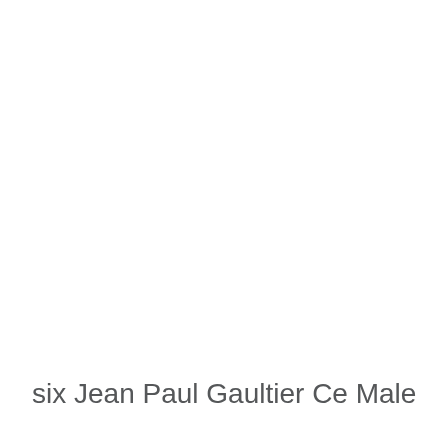six Jean Paul Gaultier Ce Male